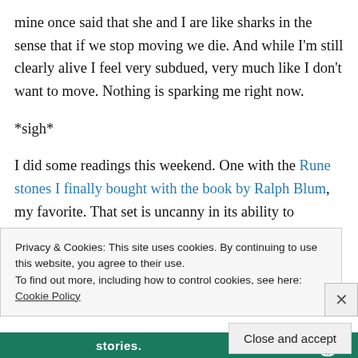mine once said that she and I are like sharks in the sense that if we stop moving we die. And while I'm still clearly alive I feel very subdued, very much like I don't want to move. Nothing is sparking me right now.
*sigh*
I did some readings this weekend. One with the Rune stones I finally bought with the book by Ralph Blum, my favorite. That set is uncanny in its ability to pinpoint my issues. A few 3 card readings using the Well Worn Path and the Hidden Path decks combined. Also uncanny. I'm
Privacy & Cookies: This site uses cookies. By continuing to use this website, you agree to their use.
To find out more, including how to control cookies, see here: Cookie Policy
Close and accept
stories.